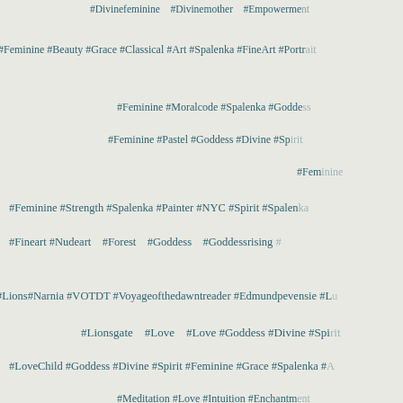#Divinefeminine #Divinemother #Empowerment
#Feminine #Beauty #Grace #Classical #Art #Spalenka #FineArt #Portrait
#Feminine #Moralcode #Spalenka #Goddess
#Feminine #Pastel #Goddess #Divine #Spirit
#Feminine
#Feminine #Strength #Spalenka #Painter #NYC #Spirit #Spalenka
#Fineart #Nudeart #Forest #Goddess #Goddessrising #
#Lions#Narnia #VOTDT #Voyageofthedawntreader #Edmundpevensie #L
#Lionsgate #Love #Love #Goddess #Divine #Spirit
#LoveChild #Goddess #Divine #Spirit #Feminine #Grace #Spalenka #
#Meditation #Love #Intuition #Enchantment
#Meditation #Love #Intuition #Enchantment #Cosmicheart #Cosmic